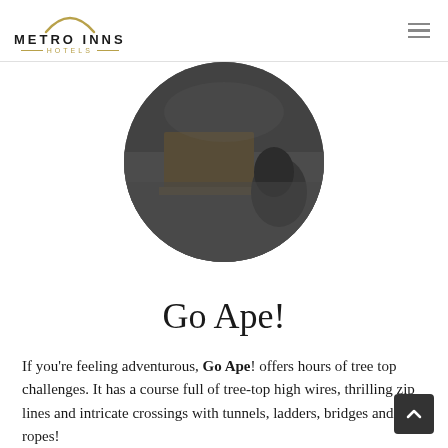Metro Inns Hotels
[Figure (photo): Circular cropped black and white photo of a hotel interior showing a bar/lounge area with wooden floors, chairs, and furniture]
Go Ape!
If you’re feeling adventurous, Go Ape! offers hours of tree top challenges. It has a course full of tree-top high wires, thrilling zip lines and intricate crossings with tunnels, ladders, bridges and ropes!